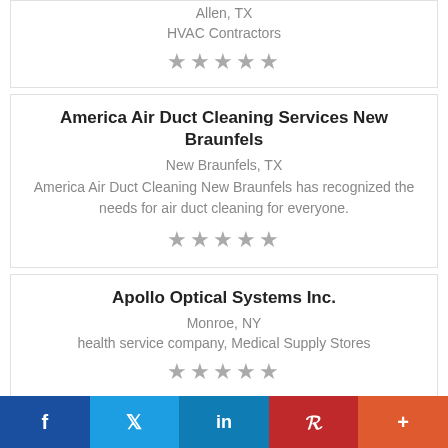Allen, TX
HVAC Contractors
★★★★★
America Air Duct Cleaning Services New Braunfels
New Braunfels, TX
America Air Duct Cleaning New Braunfels has recognized the needs for air duct cleaning for everyone.
★★★★★
Apollo Optical Systems Inc.
Monroe, NY
health service company, Medical Supply Stores
★★★★★
f  t  in  P  +